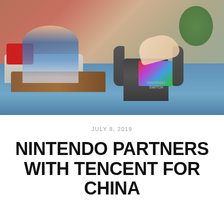[Figure (photo): Photo of a Nintendo Switch console in its dock on a blue surface, with a hand reaching to touch it. In the blurred background, a person sits on a couch in a living room setting with a red cushion, wooden coffee table, and a plant.]
JULY 8, 2019
NINTENDO PARTNERS WITH TENCENT FOR CHINA